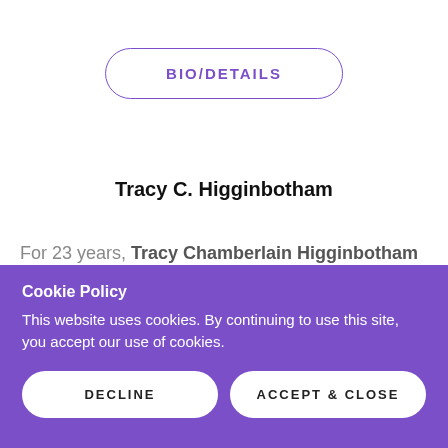BIO/DETAILS
Tracy C. Higginbotham
For 23 years, Tracy Chamberlain Higginbotham has been
Cookie Policy
This website uses cookies. By continuing to use this site, you accept our use of cookies.
DECLINE
ACCEPT & CLOSE